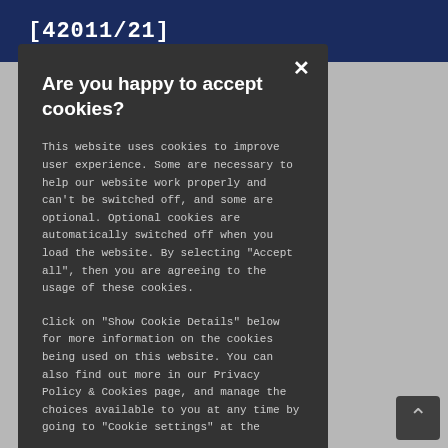[42011/21]
umpheys): I
926 together.
ly tackling all
e Government
anised Crime
t success in
[Figure (screenshot): Cookie consent modal dialog with dark background. Title: 'Are you happy to accept cookies?' with body text explaining cookie usage and an X close button in the top right corner.]